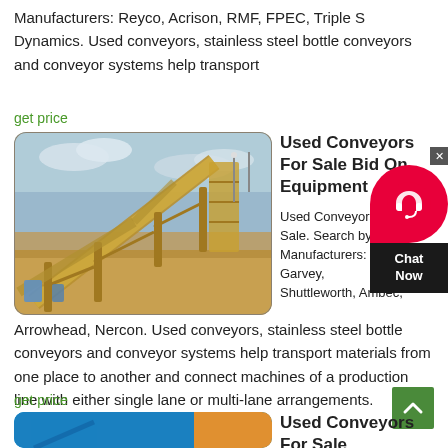Manufacturers: Reyco, Acrison, RMF, FPEC, Triple S Dynamics. Used conveyors, stainless steel bottle conveyors and conveyor systems help transport
get price
[Figure (photo): Industrial conveyor belt system at an outdoor mining or bulk materials facility, showing large yellow steel conveyor structures against a cloudy sky]
Used Conveyors For Sale Bid On Equipment
Used Conveyors for Sale. Search by Manufacturers: Garvey, Shuttleworth, Ambec, Arrowhead, Nercon. Used conveyors, stainless steel bottle conveyors and conveyor systems help transport materials from one place to another and connect machines of a production line with either single lane or multi-lane arrangements. Conveyor styles like belt
get price
[Figure (photo): Partial view of second conveyor image, appearing to show blue sky and industrial equipment]
Used Conveyors For Sale